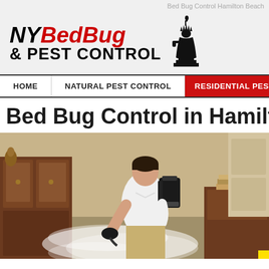Bed Bug Control Hamilton Beach
[Figure (logo): NY Bed Bug & Pest Control logo with Statue of Liberty silhouette]
HOME | NATURAL PEST CONTROL | RESIDENTIAL PEST CONTROL
Bed Bug Control in Hamilton
[Figure (photo): Pest control technician in white t-shirt with backpack sprayer treating bedroom floor with steam/mist in ornate bedroom with wooden furniture]